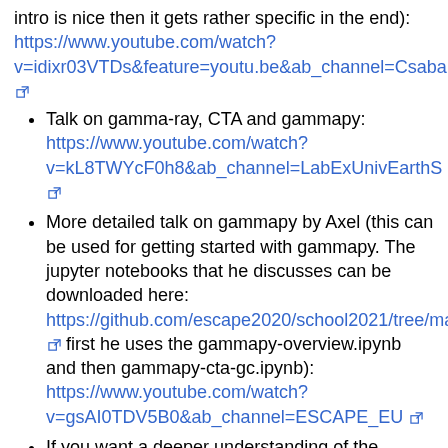intro is nice then it gets rather specific in the end): https://www.youtube.com/watch?v=idixr03VTDs&feature=youtu.be&ab_channel=CsabaBalazs
Talk on gamma-ray, CTA and gammapy: https://www.youtube.com/watch?v=kL8TWYcF0h8&ab_channel=LabExUnivEarthS
More detailed talk on gammapy by Axel (this can be used for getting started with gammapy. The jupyter notebooks that he discusses can be downloaded here: https://github.com/escape2020/school2021/tree/main/gammapy first he uses the gammapy-overview.ipynb and then gammapy-cta-gc.ipynb): https://www.youtube.com/watch?v=gsAI0TDV5B0&ab_channel=ESCAPE_EU
If you want a deeper understanding of the underlying python packages, here you can find talks on astropy, scipy, matplotlib, and numpy: https://www.youtube.com/channel/UC05braEQdP2rCSUamHm9I_Q/videos with the corresponding